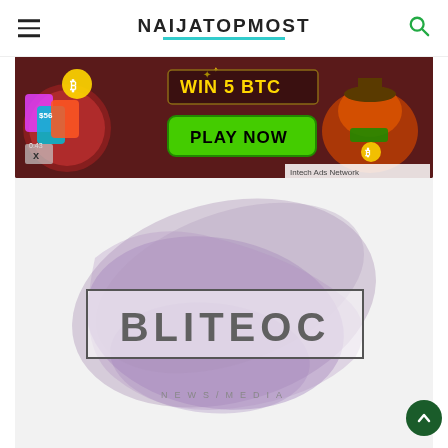NAIJATOPMOST
[Figure (screenshot): Advertisement banner: dark red background with 'WIN 5 BTC' in gold text, 'PLAY NOW' green button, spinning wheel with colored cards on left, cartoon alligator with cowboy hat on right, close X button bottom-left, 'Intech Ads Network' label bottom-right]
[Figure (logo): Bliteoc News/Media logo: white/grey background with large purple brush stroke watermark behind a bordered box containing 'BLITEOC' in large grey uppercase letters, and 'NEWS/MEDIA' in small spaced letters below]